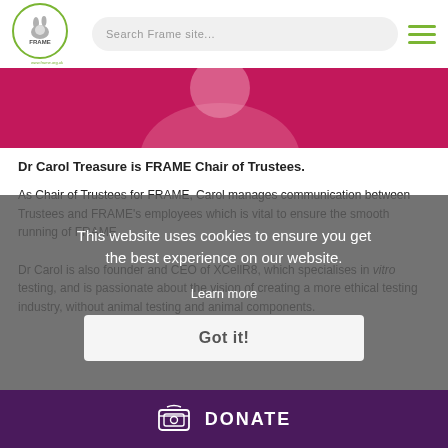FRAME | Search Frame site...
[Figure (photo): Partial photo of a person with pink/red background, cropped at top]
Dr Carol Treasure is FRAME Chair of Trustees.
As Chair of Trustees for FRAME, Carol manages communication between Trustees and FRAME's employees which is vital to ensure the smooth running of FRAME.
Dr Carol is also founder and CEO of XCellR8, which specialises in vitro testing, and is passionate about the vision of creating a more ethical testing industry, without animal testing and animal components.
This website uses cookies to ensure you get the best experience on our website.
Learn more
Got it!
DONATE